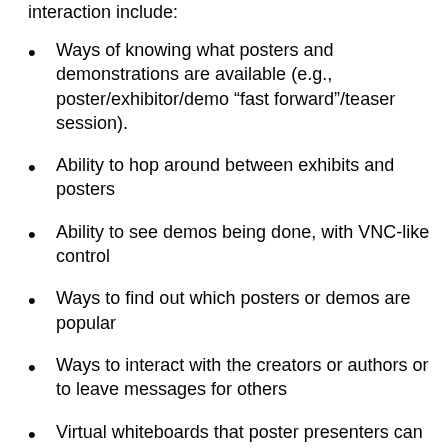interaction include:
Ways of knowing what posters and demonstrations are available (e.g., poster/exhibitor/demo “fast forward”/teaser session).
Ability to hop around between exhibits and posters
Ability to see demos being done, with VNC-like control
Ways to find out which posters or demos are popular
Ways to interact with the creators or authors or to leave messages for others
Virtual whiteboards that poster presenters can use to help explain their ideas